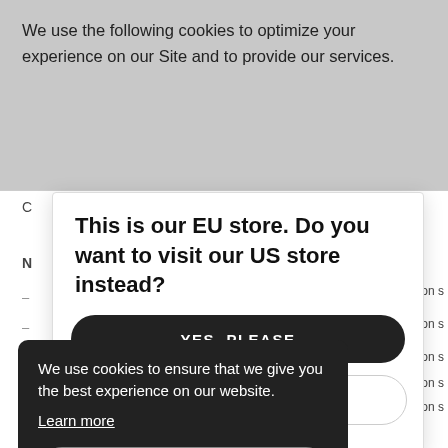We use the following cookies to optimize your experience on our Site and to provide our services.
[Figure (screenshot): EU store redirect modal dialog with heading 'This is our EU store. Do you want to visit our US store instead?' and two buttons: 'YES, PLEASE' (dark) and a second partially visible button with 'KS' visible.]
[Figure (screenshot): Cookie consent banner (dark background) with text: 'We use cookies to ensure that we give you the best experience on our website. Learn more' and an 'OK' button.]
_shopify_u
Used in connection s
Used in connection s
Used in connection s
Used to facilitate up